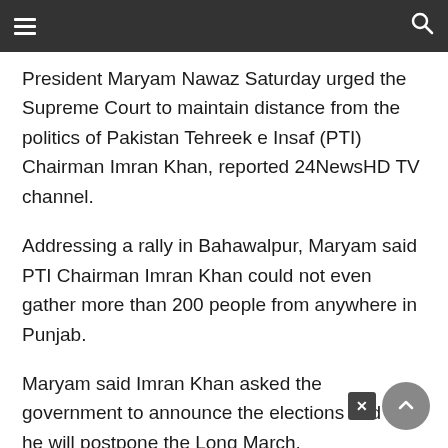≡  🔍
President Maryam Nawaz Saturday urged the Supreme Court to maintain distance from the politics of Pakistan Tehreek e Insaf (PTI) Chairman Imran Khan, reported 24NewsHD TV channel.
Addressing a rally in Bahawalpur, Maryam said PTI Chairman Imran Khan could not even gather more than 200 people from anywhere in Punjab.
Maryam said Imran Khan asked the government to announce the elections and then he will postpone the Long March.